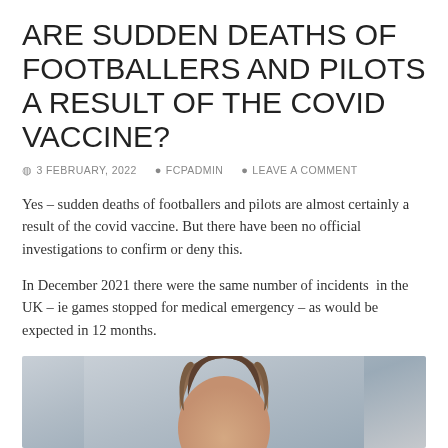ARE SUDDEN DEATHS OF FOOTBALLERS AND PILOTS A RESULT OF THE COVID VACCINE?
3 FEBRUARY, 2022  FCPADMIN  LEAVE A COMMENT
Yes – sudden deaths of footballers and pilots are almost certainly a result of the covid vaccine. But there have been no official investigations to confirm or deny this.
In December 2021 there were the same number of incidents  in the UK – ie games stopped for medical emergency – as would be expected in 12 months.
[Figure (photo): Partial photo showing the top of a person's head with brown hair, against a light grey/blue gradient background. Only the hair and top of head are visible at the bottom of the page.]